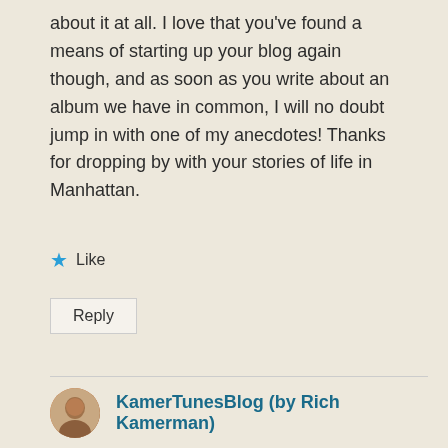about it at all. I love that you've found a means of starting up your blog again though, and as soon as you write about an album we have in common, I will no doubt jump in with one of my anecdotes! Thanks for dropping by with your stories of life in Manhattan.
★ Like
Reply
KamerTunesBlog (by Rich Kamerman)
January 28, 2019 at 9:06 pm
I saw that earlier comment from your reader who